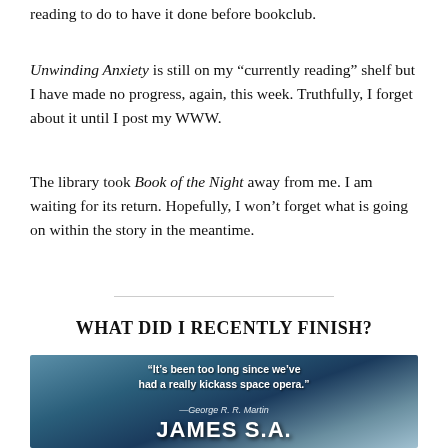reading to do to have it done before bookclub.
Unwinding Anxiety is still on my “currently reading” shelf but I have made no progress, again, this week. Truthfully, I forget about it until I post my WWW.
The library took Book of the Night away from me. I am waiting for its return. Hopefully, I won’t forget what is going on within the story in the meantime.
WHAT DID I RECENTLY FINISH?
[Figure (illustration): Book cover for James S.A. Corey with quote 'It's been too long since we've had a really kickass space opera.' —George R. R. Martin, showing the author name in large white bold text over a blue space-themed background.]